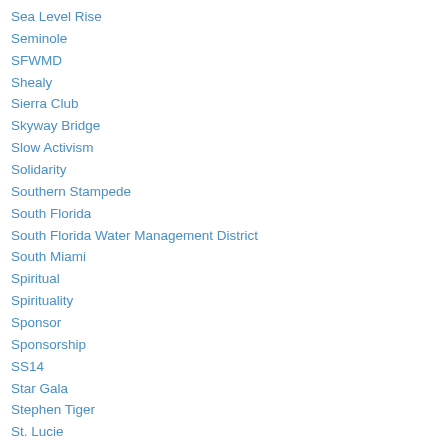Sea Level Rise
Seminole
SFWMD
Shealy
Sierra Club
Skyway Bridge
Slow Activism
Solidarity
Southern Stampede
South Florida
South Florida Water Management District
South Miami
Spiritual
Spirituality
Sponsor
Sponsorship
SS14
Star Gala
Stephen Tiger
St. Lucie